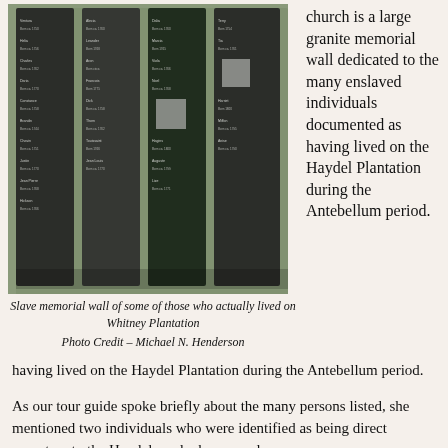[Figure (photo): Photograph of a large granite slave memorial wall at Whitney Plantation, showing multiple dark granite panels with names of enslaved individuals engraved in white text.]
Slave memorial wall of some of those who actually lived on Whitney Plantation
Photo Credit – Michael N. Henderson
church is a large granite memorial wall dedicated to the many enslaved individuals documented as having lived on the Haydel Plantation during the Antebellum period.
As our tour guide spoke briefly about the many persons listed, she mentioned two individuals who were identified as being direct ancestors to the Haydels and who were also